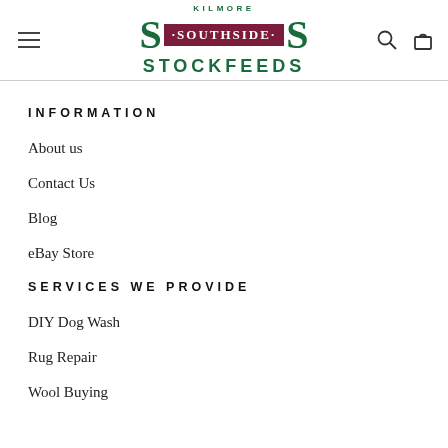[Figure (logo): Kilmore Southside Stockfeeds logo with large green S letters, dark red center banner with SOUTHSIDE text, and STOCKFEEDS text below]
INFORMATION
About us
Contact Us
Blog
eBay Store
SERVICES WE PROVIDE
DIY Dog Wash
Rug Repair
Wool Buying